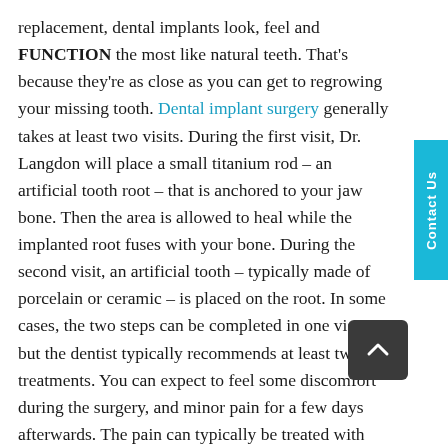replacement, dental implants look, feel and FUNCTION the most like natural teeth. That's because they're as close as you can get to regrowing your missing tooth. Dental implant surgery generally takes at least two visits. During the first visit, Dr. Langdon will place a small titanium rod – an artificial tooth root – that is anchored to your jaw bone. Then the area is allowed to heal while the implanted root fuses with your bone. During the second visit, an artificial tooth – typically made of porcelain or ceramic – is placed on the root. In some cases, the two steps can be completed in one visit, but the dentist typically recommends at least two treatments. You can expect to feel some discomfort during the surgery, and minor pain for a few days afterwards. The pain can typically be treated with over-the-counter pain medication like Advil or Tylenol. Read our blog about the procedure for dental implants in Waterdown for more information.